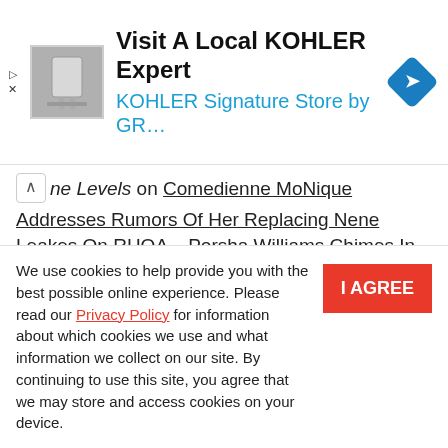[Figure (screenshot): Ad banner for KOHLER with product image (gray/white bathroom fixture), blue navigation icon (diamond shape with right arrow), title 'Visit A Local KOHLER Expert', subtitle 'KOHLER Signature Store by GR...']
ne Levels on Comedienne MoNique Addresses Rumors Of Her Replacing Nene Leakes On RHOA – Porsha Williams Chimes In
Steve Brooks on Anti-Donald Trump Republican Nicolle Wallace Is Dating Michael S. Schmidt Amid Divorce Rumors From Husband, Mark
We use cookies to help provide you with the best possible online experience. Please read our Privacy Policy for information about which cookies we use and what information we collect on our site. By continuing to use this site, you agree that we may store and access cookies on your device.